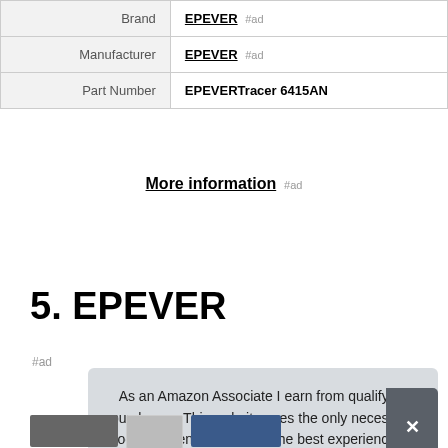| Brand | EPEVER #ad |
| Manufacturer | EPEVER #ad |
| Part Number | EPEVERTracer 6415AN |
More information #ad
5. EPEVER
#ad
As an Amazon Associate I earn from qualifying purchases. This website uses the only necessary cookies to ensure you get the best experience on our website. More information